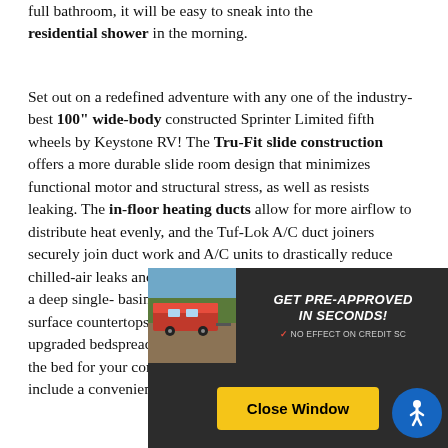full bathroom, it will be easy to sneak into the residential shower in the morning.
Set out on a redefined adventure with any one of the industry-best 100" wide-body constructed Sprinter Limited fifth wheels by Keystone RV! The Tru-Fit slide construction offers a more durable slide room design that minimizes functional motor and structural stress, as well as resists leaking. The in-floor heating ducts allow for more airflow to distribute heat evenly, and the Tuf-Lok A/C duct joiners securely join duct work and A/C units to drastically reduce chilled-air leaks and boost cooling efficiency. Inside you'll find a deep single-basin stainless steel surface countertops in upgraded bedspread a the bed for your comf include a convenient eight-function remote for
[Figure (screenshot): Advertisement overlay: dark background with RV image, text 'GET PRE-APPROVED IN SECONDS! NO EFFECT ON CREDIT S...' and a yellow 'Close Window' button, plus a blue accessibility icon.]